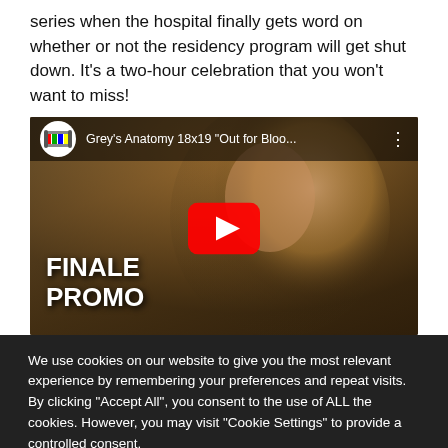series when the hospital finally gets word on whether or not the residency program will get shut down. It's a two-hour celebration that you won't want to miss!
[Figure (screenshot): YouTube video thumbnail for Grey's Anatomy 18x19 'Out for Bloo...' showing a woman with brown hair and text 'FINALE PROMO' with a red YouTube play button overlay]
We use cookies on our website to give you the most relevant experience by remembering your preferences and repeat visits. By clicking "Accept All", you consent to the use of ALL the cookies. However, you may visit "Cookie Settings" to provide a controlled consent.
Cookie Settings | Accept All